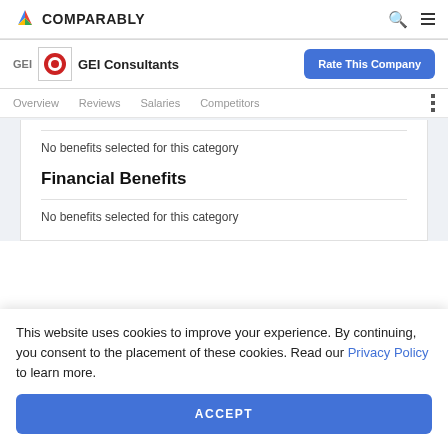COMPARABLY
GEI Consultants
Rate This Company
Overview  Reviews  Salaries  Competitors
No benefits selected for this category
Financial Benefits
No benefits selected for this category
This website uses cookies to improve your experience. By continuing, you consent to the placement of these cookies. Read our Privacy Policy to learn more.
ACCEPT